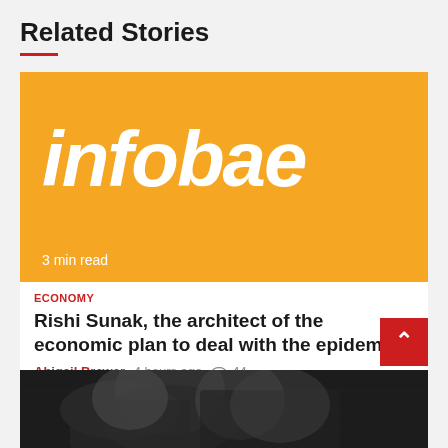Related Stories
[Figure (logo): Infobae logo on orange background with '3 min read' text at bottom]
ECONOMY
Rishi Sunak, the architect of the economic plan to deal with the epidemic
Abigail Brewer  4 hours ago  👁 44
[Figure (photo): Black and white photo of a person, partially visible at bottom of page]